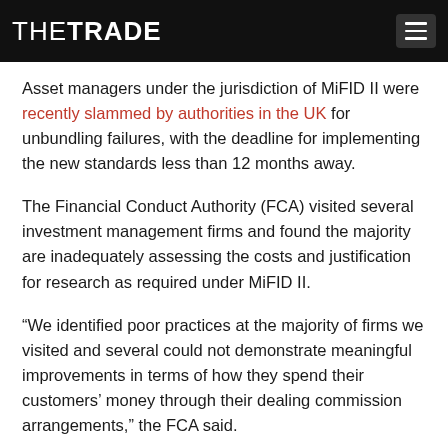THE TRADE
Asset managers under the jurisdiction of MiFID II were recently slammed by authorities in the UK for unbundling failures, with the deadline for implementing the new standards less than 12 months away.
The Financial Conduct Authority (FCA) visited several investment management firms and found the majority are inadequately assessing the costs and justification for research as required under MiFID II.
“We identified poor practices at the majority of firms we visited and several could not demonstrate meaningful improvements in terms of how they spend their customers’ money through their dealing commission arrangements,” the FCA said.